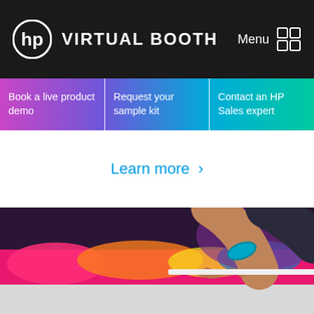HP VIRTUAL BOOTH  Menu
Book a live product demo
Request your sample kit
Contact an HP Sales expert
Learn more >
[Figure (photo): Close-up photo of a person's hand with a teal bracelet touching colorful printed fabric on a white surface, likely demonstrating HP textile printing.]